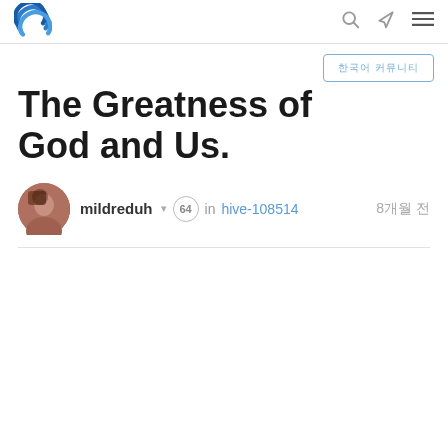Steemit logo with navigation icons (search, edit, menu)
한국어 커뮤니티
The Greatness of God and Us.
mildreduh ▾ 64 in hive-108514  8개월 전